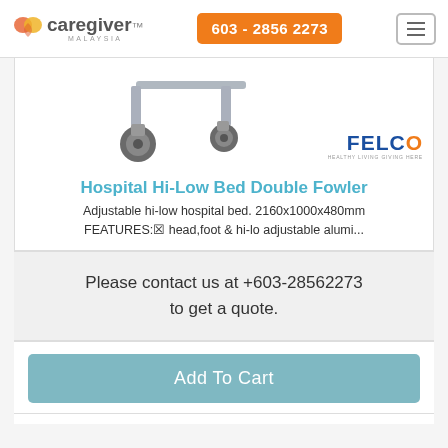caregiver MALAYSIA | 603 - 2856 2273
[Figure (photo): Close-up of hospital bed caster wheels against white background, with FELCO brand logo in blue and orange]
Hospital Hi-Low Bed Double Fowler
Adjustable hi-low hospital bed. 2160x1000x480mm FEATURES:▣ head,foot & hi-lo adjustable alumi...
Please contact us at +603-28562273 to get a quote.
Add To Cart